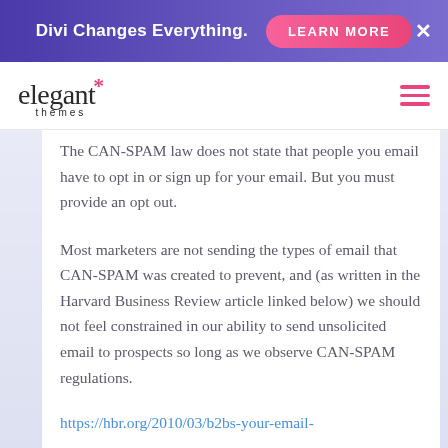Divi Changes Everything. LEARN MORE ×
[Figure (logo): Elegant Themes logo with asterisk star and hamburger menu icon]
The CAN-SPAM law does not state that people you email have to opt in or sign up for your email. But you must provide an opt out.
Most marketers are not sending the types of email that CAN-SPAM was created to prevent, and (as written in the Harvard Business Review article linked below) we should not feel constrained in our ability to send unsolicited email to prospects so long as we observe CAN-SPAM regulations.
https://hbr.org/2010/03/b2bs-your-email-